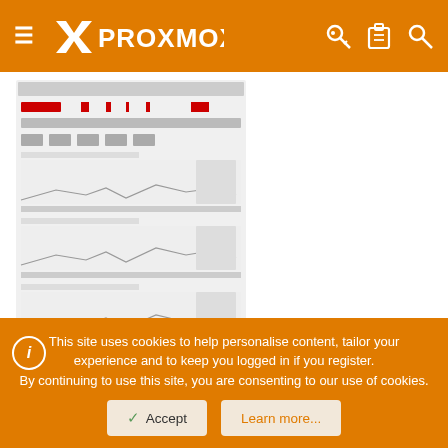PROXMOX
[Figure (screenshot): Zabbix monitoring screen showing performance graphs for three nodes with red highlighted bars and multiple timeline charts]
So this is a Zabbix screen over the three nodes. Details over the time ranges:
- From 07:00 - 10:25: Performancetest running over the weekend. promox04 performs better than the other three nodes. It took some time to identify that error. The other two nodes used systemd-boot - promox04 used grub to boot. We only configured
This site uses cookies to help personalise content, tailor your experience and to keep you logged in if you register.
By continuing to use this site, you are consenting to our use of cookies.